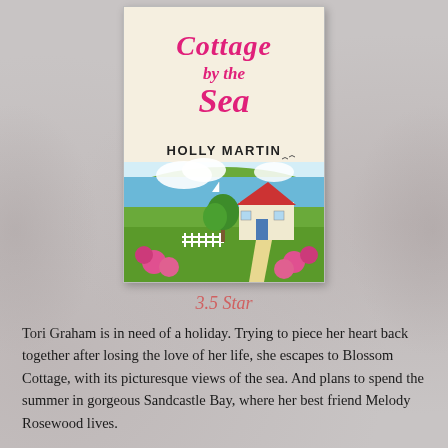[Figure (illustration): Book cover of 'Cottage by the Sea' by Holly Martin. Features pink cursive title text, author name in bold serif, and an illustrated scene of a white cottage with red roof on green hills overlooking the sea, with pink flowers in the foreground.]
3.5 Star
Tori Graham is in need of a holiday. Trying to piece her heart back together after losing the love of her life, she escapes to Blossom Cottage, with its picturesque views of the sea. And plans to spend the summer in gorgeous Sandcastle Bay, where her best friend Melody Rosewood lives.
Finding herself embracing life in the coastal community, Tori starts to fall in love with Sandcastle Bay and its welcoming cast of residents. But that’s not all she begins to fall for, as Tori is most